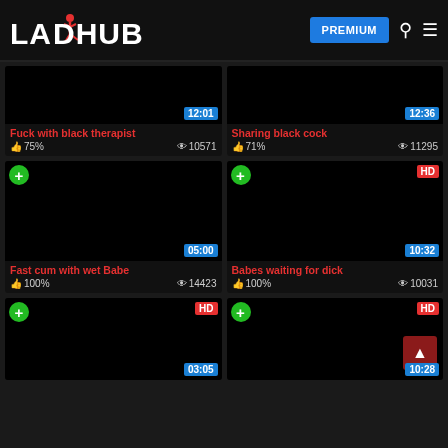LAIDHUB — PREMIUM navigation bar
[Figure (screenshot): Video thumbnail black, 12:01 badge — Fuck with black therapist, 75%, 10571 views]
[Figure (screenshot): Video thumbnail black, 12:36 badge — Sharing black cock, 71%, 11295 views]
[Figure (screenshot): Video thumbnail black, HD badge, 05:00 badge — Fast cum with wet Babe, 100%, 14423 views]
[Figure (screenshot): Video thumbnail black, HD badge, 10:32 badge — Babes waiting for dick, 100%, 10031 views]
[Figure (screenshot): Video thumbnail black, HD badge, 03:05 badge — partial card bottom]
[Figure (screenshot): Video thumbnail black, HD badge, 10:28 badge — partial card bottom]